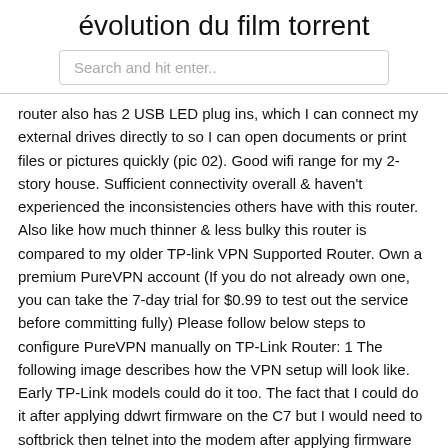évolution du film torrent
[Figure (other): Search bar with placeholder text 'Search and hit enter..']
router also has 2 USB LED plug ins, which I can connect my external drives directly to so I can open documents or print files or pictures quickly (pic 02). Good wifi range for my 2-story house. Sufficient connectivity overall & haven't experienced the inconsistencies others have with this router. Also like how much thinner & less bulky this router is compared to my older TP-link VPN Supported Router. Own a premium PureVPN account (If you do not already own one, you can take the 7-day trial for $0.99 to test out the service before committing fully) Please follow below steps to configure PureVPN manually on TP-Link Router: 1 The following image describes how the VPN setup will look like. Early TP-Link models could do it too. The fact that I could do it after applying ddwrt firmware on the C7 but I would need to softbrick then telnet into the modem after applying firmware just doesn't inspire confidence when the 3 web pages I found on the net couldnt agree with what the proper telnet commands were or their syntax for commands was wrong. Diese Anleitung zeigt Ihnen,